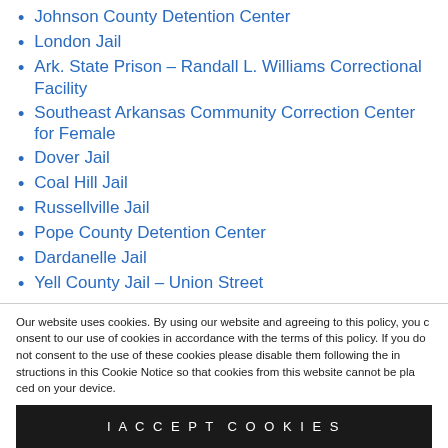Johnson County Detention Center
London Jail
Ark. State Prison – Randall L. Williams Correctional Facility
Southeast Arkansas Community Correction Center for Female
Dover Jail
Coal Hill Jail
Russellville Jail
Pope County Detention Center
Dardanelle Jail
Yell County Jail – Union Street
Our website uses cookies. By using our website and agreeing to this policy, you consent to our use of cookies in accordance with the terms of this policy. If you do not consent to the use of these cookies please disable them following the instructions in this Cookie Notice so that cookies from this website cannot be placed on your device.
I ACCEPT COOKIES